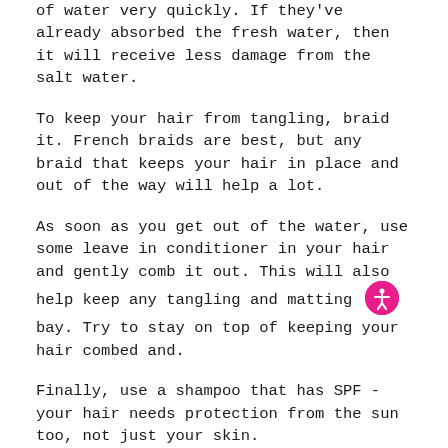of water very quickly. If they've already absorbed the fresh water, then it will receive less damage from the salt water.
To keep your hair from tangling, braid it. French braids are best, but any braid that keeps your hair in place and out of the way will help a lot.
As soon as you get out of the water, use some leave in conditioner in your hair and gently comb it out. This will also help keep any tangling and matting at bay. Try to stay on top of keeping your hair combed and.
Finally, use a shampoo that has SPF - your hair needs protection from the sun too, not just your skin.
Have a fun time on your vacation!